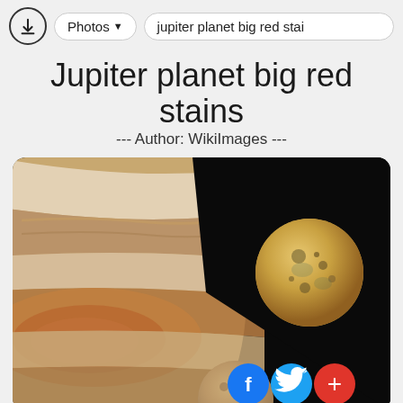Photos ▾   jupiter planet big red stai
Jupiter planet big red stains
--- Author: WikiImages ---
[Figure (photo): Close-up photo of Jupiter showing the Great Red Spot and swirling cloud bands on the left side, with black space on the right, and a yellow-brown moon (Io) in the upper right area. A partially visible second moon appears at the bottom center. Social sharing buttons (Facebook, Twitter, plus) overlay the bottom right.]